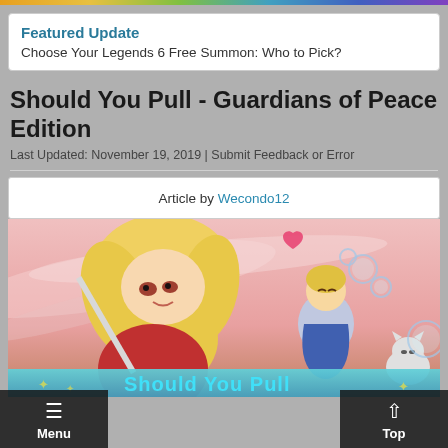Featured Update
Choose Your Legends 6 Free Summon: Who to Pick?
Should You Pull - Guardians of Peace Edition
Last Updated: November 19, 2019 | Submit Feedback or Error
Article by Wecondo12
[Figure (illustration): Banner image for 'Should You Pull - Guardians of Peace Edition' article, featuring anime-style characters including a blonde woman and a small character with bubbles, with decorative text reading 'Should You Pull' at the bottom]
Menu   Top